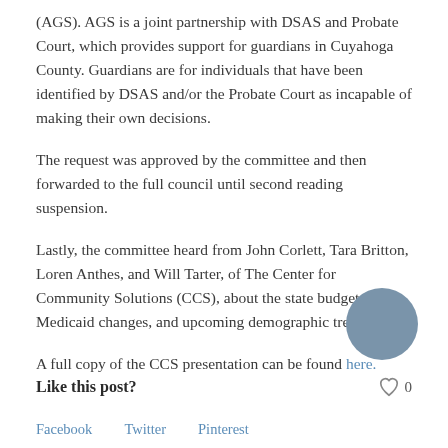(AGS).  AGS is a joint partnership with DSAS and Probate Court, which provides support for guardians in Cuyahoga County. Guardians are for individuals that have been identified by DSAS and/or the Probate Court as incapable of making their own decisions.
The request was approved by the committee and then forwarded to the full council until second reading suspension.
Lastly, the committee heard from John Corlett, Tara Britton, Loren Anthes, and Will Tarter, of The Center for Community Solutions (CCS), about the state budget, Medicaid changes, and upcoming demographic trends.
A full copy of the CCS presentation can be found here.
Like this post?
0
Facebook   Twitter   Pinterest